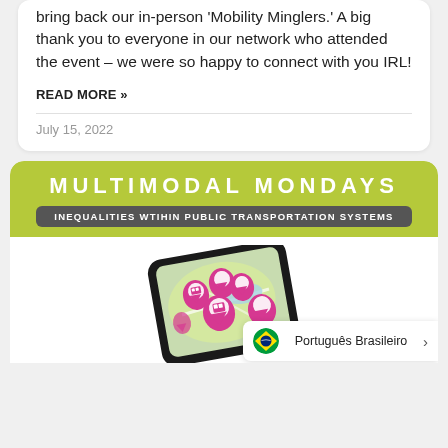bring back our in-person 'Mobility Minglers.' A big thank you to everyone in our network who attended the event – we were so happy to connect with you IRL!
READ MORE »
July 15, 2022
[Figure (infographic): Multimodal Mondays banner with olive/yellow-green background showing title 'MULTIMODAL MONDAYS' and subtitle 'INEQUALITIES WTIHIN PUBLIC TRANSPORTATION SYSTEMS', with an image of a smartphone displaying a map with pink location pins representing transportation modes.]
Português Brasileiro